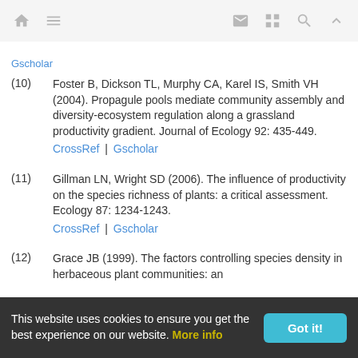Navigation bar with home, menu, mail, grid, search, and up icons
Gscholar (partial, top)
(10) Foster B, Dickson TL, Murphy CA, Karel IS, Smith VH (2004). Propagule pools mediate community assembly and diversity-ecosystem regulation along a grassland productivity gradient. Journal of Ecology 92: 435-449. CrossRef | Gscholar
(11) Gillman LN, Wright SD (2006). The influence of productivity on the species richness of plants: a critical assessment. Ecology 87: 1234-1243. CrossRef | Gscholar
(12) Grace JB (1999). The factors controlling species density in herbaceous plant communities: an (partial)
This website uses cookies to ensure you get the best experience on our website. More info | Got it!